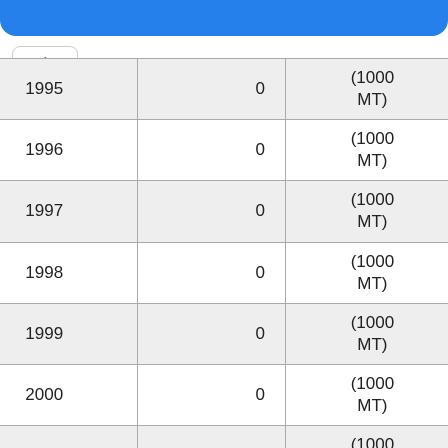| Year | Value | Unit |
| --- | --- | --- |
| 1995 | 0 | (1000 MT) |
| 1996 | 0 | (1000 MT) |
| 1997 | 0 | (1000 MT) |
| 1998 | 0 | (1000 MT) |
| 1999 | 0 | (1000 MT) |
| 2000 | 0 | (1000 MT) |
| 2001 | 0 | (1000 MT) |
| 2002 | 0 | (1000 MT) |
| 2003 | 0 | (1000 MT) |
| 2004 | 0 | (1000 MT) |
| 2005 | 0 | (1000 MT) |